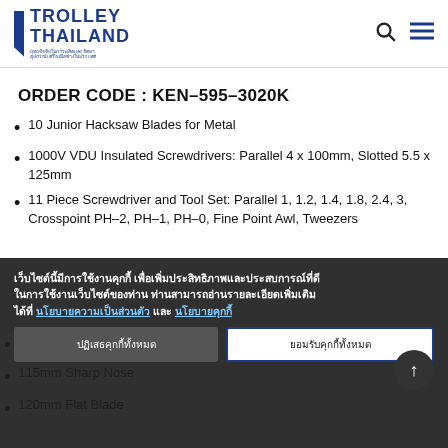TROLLEY THAILAND
ORDER CODE : KEN-595-3020K
10 Junior Hacksaw Blades for Metal
1000V VDU Insulated Screwdrivers: Parallel 4 x 100mm, Slotted 5.5 x 125mm
11 Piece Screwdriver and Tool Set: Parallel 1, 1.2, 1.4, 1.8, 2.4, 3, Crosspoint PH-2, PH-1, PH-0, Fine Point Awl, Tweezers
115mm Precision Nipper
115mm Sharp Nose
120mm Flat Blade
เว็บไซต์นี้มีการใช้งานคุกกี้ เพื่อเพิ่มประสิทธิภาพและประสบการณ์ที่ดีในการใช้งานเว็บไซต์ของท่าน ท่านสามารถอ่านรายละเอียดเพิ่มเติมได้ที่ นโยบายความเป็นส่วนตัว และ นโยบายคุกกี้